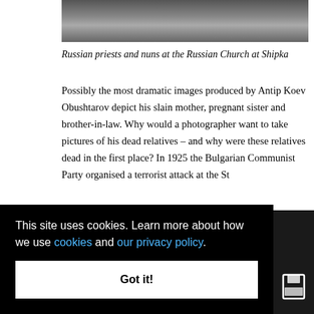[Figure (photo): Black and white photograph showing Russian priests and nuns at the Russian Church at Shipka, partially cropped at top of page]
Russian priests and nuns at the Russian Church at Shipka
Possibly the most dramatic images produced by Antip Koev Obushtarov depict his slain mother, pregnant sister and brother-in-law. Why would a photographer want to take pictures of his dead relatives – and why were these relatives dead in the first place? In 1925 the Bulgarian Communist Party organised a terrorist attack at the St ...dome. ...ng ...for the ...at the ...llowed
This site uses cookies. Learn more about how we use cookies and our privacy policy.
Got it!